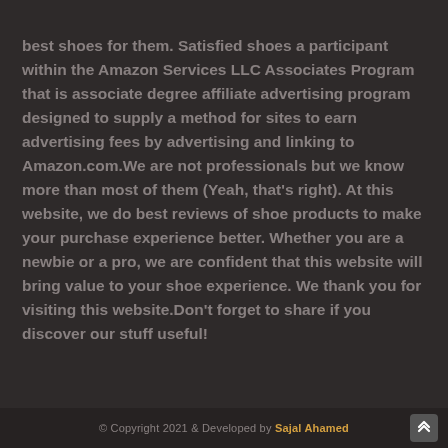best shoes for them. Satisfied shoes a participant within the Amazon Services LLC Associates Program that is associate degree affiliate advertising program designed to supply a method for sites to earn advertising fees by advertising and linking to Amazon.com.We are not professionals but we know more than most of them (Yeah, that's right). At this website, we do best reviews of shoe products to make your purchase experience better. Whether you are a newbie or a pro, we are confident that this website will bring value to your shoe experience. We thank you for visiting this website.Don't forget to share if you discover our stuff useful!
© Copyright 2021 & Developed by Sajal Ahamed